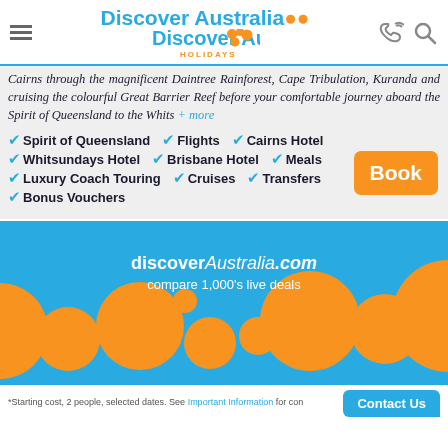Discover Australia Holidays
Cairns through the magnificent Daintree Rainforest, Cape Tribulation, Kuranda and cruising the colourful Great Barrier Reef before your comfortable journey aboard the Spirit of Queensland to the Whits + more
Spirit of Queensland  Flights  Cairns Hotel  Whitsundays Hotel  Brisbane Hotel  Meals  Luxury Coach Touring  Cruises  Transfers  Bonus Vouchers
[Figure (illustration): Decorative orange circles of varying sizes on a blue background, forming a bubble/dot pattern across the section]
discoverAustralia.com compare 1,000's live deals
*Starting cost, 2 people, selected dates. See Important Information for con...